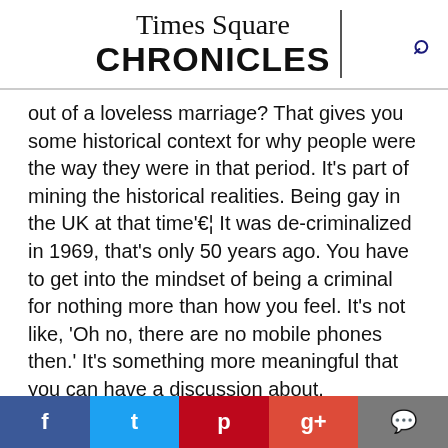Times Square CHRONICLES
out of a loveless marriage? That gives you some historical context for why people were the way they were in that period. It's part of mining the historical realities. Being gay in the UK at that time'€¦ It was de-criminalized in 1969, that's only 50 years ago. You have to get into the mindset of being a criminal for nothing more than how you feel. It's not like, 'Oh no, there are no mobile phones then.' It's something more meaningful that you can have a discussion about.
Q: Was this ever conceptualized as a play? how you think about it; ow would it change it?
DE: I think that would be amazing if it could be re-